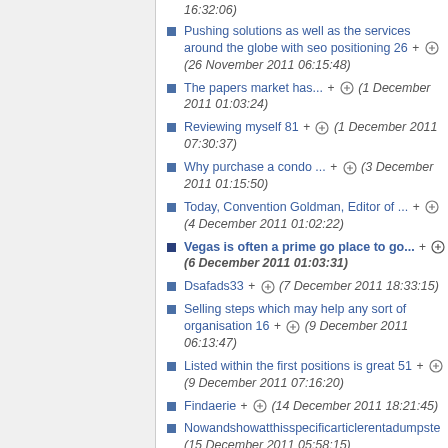16:32:06)
Pushing solutions as well as the services around the globe with seo positioning 26 + (26 November 2011 06:15:48)
The papers market has... + (1 December 2011 01:03:24)
Reviewing myself 81 + (1 December 2011 07:30:37)
Why purchase a condo ... + (3 December 2011 01:15:50)
Today, Convention Goldman, Editor of ... + (4 December 2011 01:02:22)
Vegas is often a prime go place to go... + (6 December 2011 01:03:31)
Dsafads33 + (7 December 2011 18:33:15)
Selling steps which may help any sort of organisation 16 + (9 December 2011 06:13:47)
Listed within the first positions is great 51 + (9 December 2011 07:16:20)
Findaerie + (14 December 2011 18:21:45)
Nowandshowatthisspecificarticlerentadumpste (15 December 2011 05:58:15)